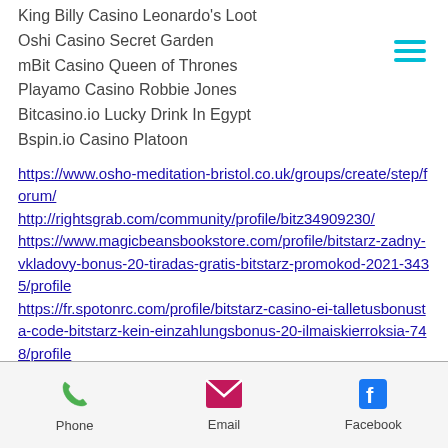King Billy Casino Leonardo's Loot
Oshi Casino Secret Garden
mBit Casino Queen of Thrones
Playamo Casino Robbie Jones
Bitcasino.io Lucky Drink In Egypt
Bspin.io Casino Platoon
https://www.osho-meditation-bristol.co.uk/groups/create/step/forum/
http://rightsgrab.com/community/profile/bitz34909230/
https://www.magicbeansbookstore.com/profile/bitstarz-zadny-vkladovy-bonus-20-tiradas-gratis-bitstarz-promokod-2021-3435/profile
https://fr.spotonrc.com/profile/bitstarz-casino-ei-talletusbonusta-code-bitstarz-kein-einzahlungsbonus-20-ilmaiskierroksia-748/profile
Phone  Email  Facebook